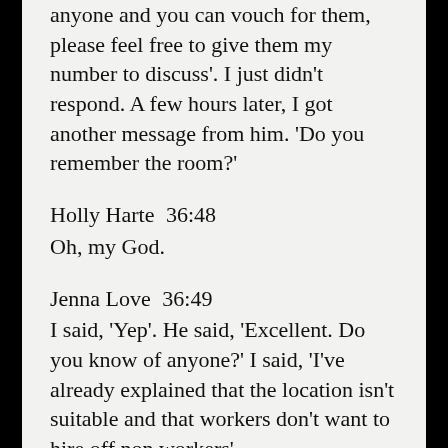anyone and you can vouch for them, please feel free to give them my number to discuss'. I just didn't respond. A few hours later, I got another message from him. 'Do you remember the room?'
Holly Harte  36:48
Oh, my God.
Jenna Love  36:49
I said, 'Yep'. He said, 'Excellent. Do you know of anyone?' I said, 'I've already explained that the location isn't suitable and that workers don't want to hire off non workers'
Holly Harte  36:59
Take a hint.